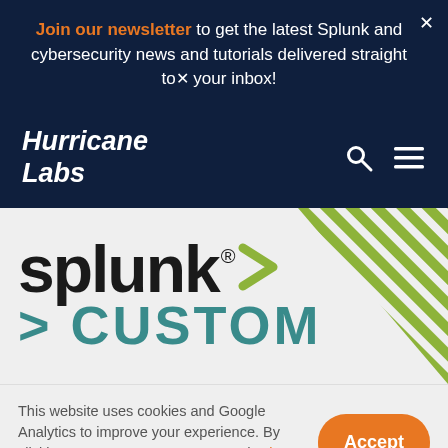Join our newsletter to get the latest Splunk and cybersecurity news and tutorials delivered straight to your inbox!
[Figure (logo): Hurricane Labs logo - white bold italic text on dark navy background]
[Figure (logo): Splunk logo with green chevron and teal partial text below, on light grey background with diagonal green stripe pattern]
This website uses cookies and Google Analytics to improve your experience. By clicking, you agree to our Terms and Privacy Policies.